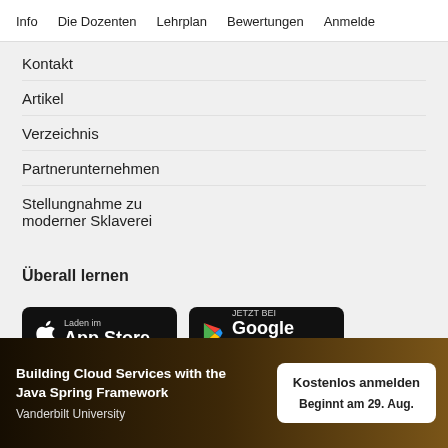Info   Die Dozenten   Lehrplan   Bewertungen   Anmelden
Kontakt
Artikel
Verzeichnis
Partnerunternehmen
Stellungnahme zu moderner Sklaverei
Überall lernen
[Figure (screenshot): App Store and Google Play store download buttons on dark background]
Building Cloud Services with the Java Spring Framework
Vanderbilt University
Kostenlos anmelden
Beginnt am 29. Aug.